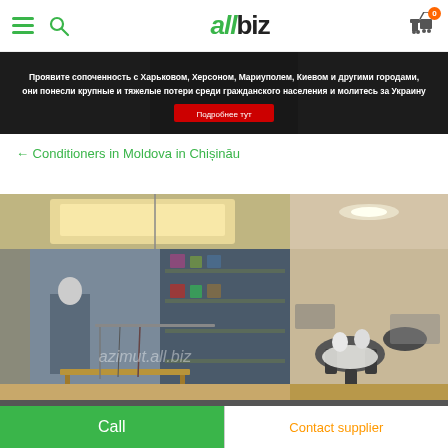allbiz header with hamburger menu, search icon, logo, and cart
[Figure (photo): Banner with Russian text about Kharkiv, Kherson, Mariupol, Kyiv and other cities with a 'Подробнее тут' button]
← Conditioners in Moldova in Chișinău
[Figure (photo): Left photo: interior of a clothing boutique with hanging clothes, shelves, and a display table with watermark azimut.all.biz]
[Figure (photo): Right photo: interior of a restaurant with tables and chairs under ceiling lights]
Call | Contact supplier